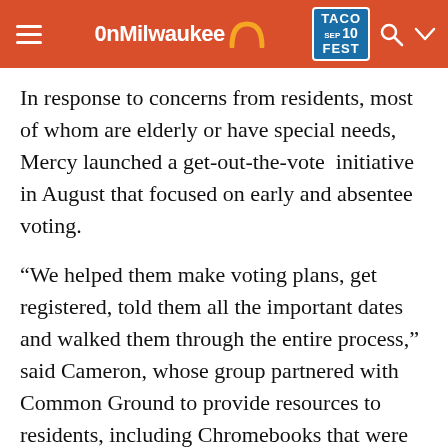OnMilwaukee | Taco Fest Sep 10
In response to concerns from residents, most of whom are elderly or have special needs, Mercy launched a get-out-the-vote initiative in August that focused on early and absentee voting.
“We helped them make voting plans, get registered, told them all the important dates and walked them through the entire process,” said Cameron, whose group partnered with Common Ground to provide resources to residents, including Chromebooks that were cleaned after each use.
Civic engagement and COVID-19